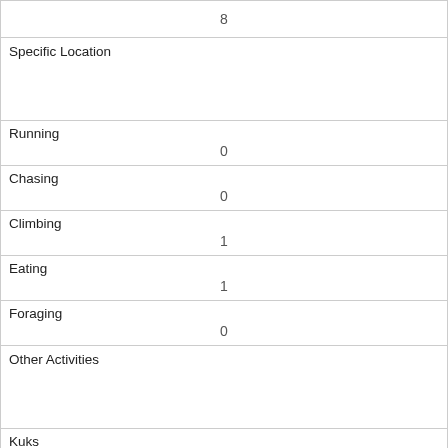| 8 |
| Specific Location |  |
| Running | 0 |
| Chasing | 0 |
| Climbing | 1 |
| Eating | 1 |
| Foraging | 0 |
| Other Activities |  |
| Kuks | 0 |
| Quaas | 0 |
| Moans | 0 |